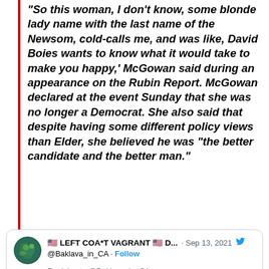“So this woman, I don’t know, some blonde lady name with the last name of the Newsom, cold-calls me, and was like, David Boies wants to know what it would take to make you happy,’ McGowan said during an appearance on the Rubin Report. McGowan declared at the event Sunday that she was no longer a Democrat. She also said that despite having some different policy views than Elder, she believed he was “the better candidate and the better man.”
[Figure (screenshot): Tweet from LEFT COA*T VAGRANT @Baklava_in_CA dated Sep 13, 2021, replying to @Baklava_in_CA. Text: Rose McGowan and Larry Elder on the irresponsible media and governor Gavin Newsom. Highest poverty, 41st in education, highest homeless, 4th highest...]